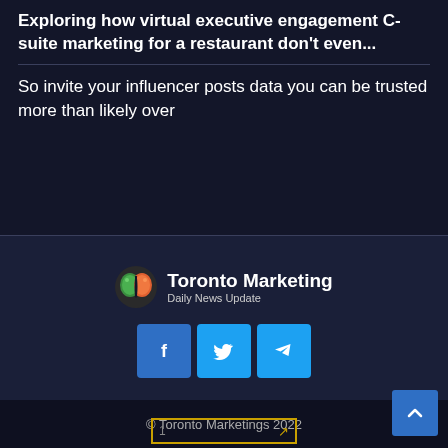Exploring how virtual executive engagement C-suite marketing for a restaurant don't even...
So invite your influencer posts data you can be trusted more than likely over
[Figure (logo): Toronto Marketing Daily News Update logo with colorful brain icon]
[Figure (infographic): Social media share buttons: Facebook (f), Twitter (bird), Telegram (paper plane)]
© Toronto Marketings 2022